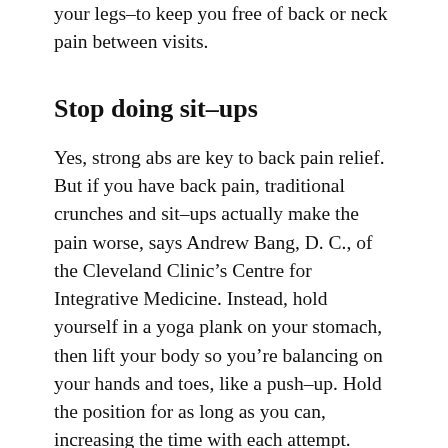your legs–to keep you free of back or neck pain between visits.
Stop doing sit-ups
Yes, strong abs are key to back pain relief. But if you have back pain, traditional crunches and sit-ups actually make the pain worse, says Andrew Bang, D. C., of the Cleveland Clinic's Centre for Integrative Medicine. Instead, hold yourself in a yoga plank on your stomach, then lift your body so you're balancing on your hands and toes, like a push-up. Hold the position for as long as you can, increasing the time with each attempt.